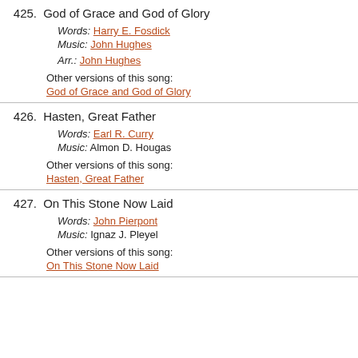425. God of Grace and God of Glory
Words: Harry E. Fosdick
Music: John Hughes
Arr.: John Hughes
Other versions of this song:
God of Grace and God of Glory
426. Hasten, Great Father
Words: Earl R. Curry
Music: Almon D. Hougas
Other versions of this song:
Hasten, Great Father
427. On This Stone Now Laid
Words: John Pierpont
Music: Ignaz J. Pleyel
Other versions of this song:
On This Stone Now Laid